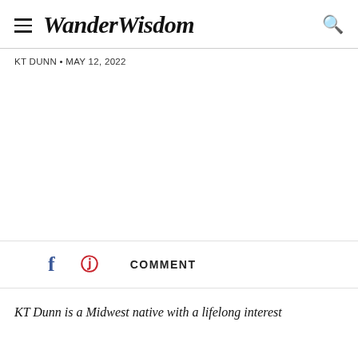WanderWisdom
KT DUNN • MAY 12, 2022
COMMENT
KT Dunn is a Midwest native with a lifelong interest